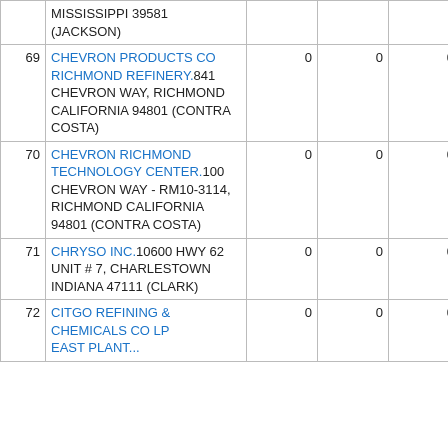| # | Facility Name / Address | Col3 | Col4 | Col5 | Col6 | Col7 |
| --- | --- | --- | --- | --- | --- | --- |
|  | MISSISSIPPI 39581 (JACKSON) |  |  |  |  |  |
| 69 | CHEVRON PRODUCTS CO RICHMOND REFINERY.841 CHEVRON WAY, RICHMOND CALIFORNIA 94801 (CONTRA COSTA) | 0 | 0 | 0 | 0 | 160,0... |
| 70 | CHEVRON RICHMOND TECHNOLOGY CENTER.100 CHEVRON WAY - RM10-3114, RICHMOND CALIFORNIA 94801 (CONTRA COSTA) | 0 | 0 | 0 | 0 |  |
| 71 | CHRYSO INC.10600 HWY 62 UNIT # 7, CHARLESTOWN INDIANA 47111 (CLARK) | 0 | 0 | 0 | 0 |  |
| 72 | CITGO REFINING & CHEMICALS CO LP EAST PLANT... | 0 | 0 | 0 | 0 |  |